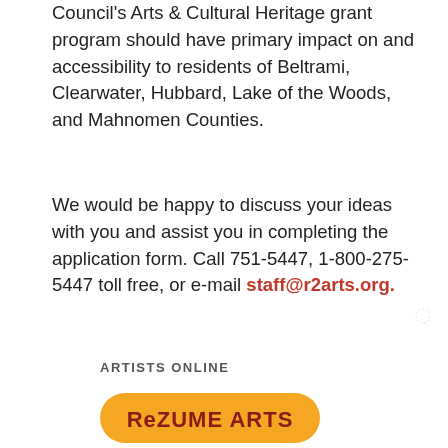Council's Arts & Cultural Heritage grant program should have primary impact on and accessibility to residents of Beltrami, Clearwater, Hubbard, Lake of the Woods, and Mahnomen Counties.
We would be happy to discuss your ideas with you and assist you in completing the application form. Call 751-5447, 1-800-275-5447 toll free, or e-mail staff@r2arts.org.
ARTISTS ONLINE
[Figure (logo): ReZUME ARTS logo — dark red bold text on an orange rounded rectangle background]